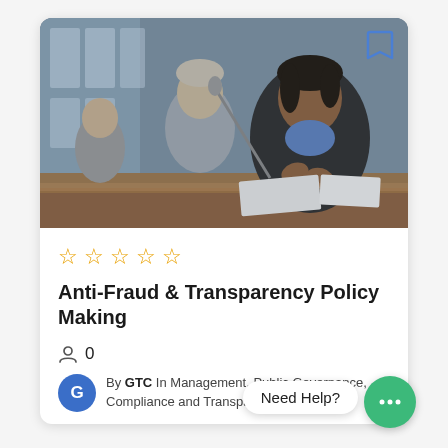[Figure (photo): Professional woman in a black blazer speaking at a conference table, with colleagues in the background. Bookmark icon in top-right corner of image.]
☆ ☆ ☆ ☆ ☆
Anti-Fraud & Transparency Policy Making
👤  0
By GTC In Management, Public Governance, Compliance and Transparency